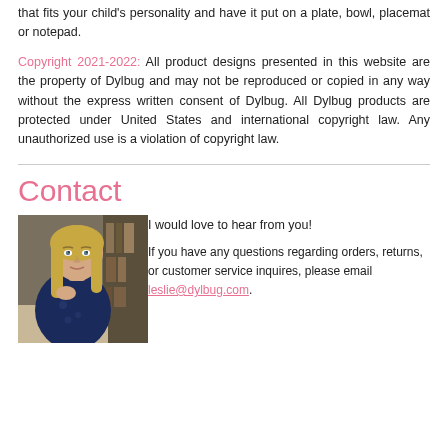that fits your child's personality and have it put on a plate, bowl, placemat or notepad.
Copyright 2021-2022: All product designs presented in this website are the property of Dylbug and may not be reproduced or copied in any way without the express written consent of Dylbug. All Dylbug products are protected under United States and international copyright law. Any unauthorized use is a violation of copyright law.
Contact
[Figure (photo): Portrait photo of a blonde woman seated, looking at the camera, in a room with bookshelves in the background.]
I would love to hear from you!

If you have any questions regarding orders, returns, or customer service inquires, please email leslie@dylbug.com.